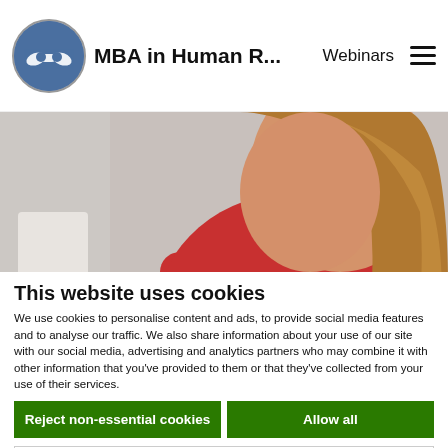MBA in Human R... | Webinars
[Figure (screenshot): Website screenshot showing a woman in a red jacket, with overlay text: A unique MBA with unique areas of specialization]
A unique MBA with unique areas of specialization
This website uses cookies
We use cookies to personalise content and ads, to provide social media features and to analyse our traffic. We also share information about your use of our site with our social media, advertising and analytics partners who may combine it with other information that you've provided to them or that they've collected from your use of their services.
Reject non-essential cookies | Allow all
Necessary | Preferences | Statistics | Marketing | Show details